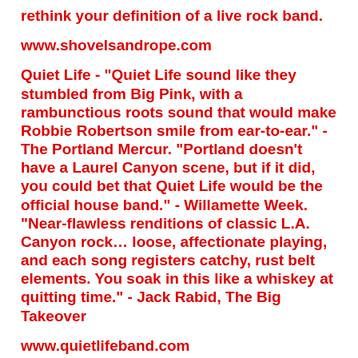rethink your definition of a live rock band.
www.shovelsandrope.com
Quiet Life - "Quiet Life sound like they stumbled from Big Pink, with a rambunctious roots sound that would make Robbie Robertson smile from ear-to-ear." - The Portland Mercur. "Portland doesn't have a Laurel Canyon scene, but if it did, you could bet that Quiet Life would be the official house band." - Willamette Week. "Near-flawless renditions of classic L.A. Canyon rock… loose, affectionate playing, and each song registers catchy, rust belt elements. You soak in this like a whiskey at quitting time." - Jack Rabid, The Big Takeover
www.quietlifeband.com
Kelly McFarling - Homegrown and haunting, Kelly